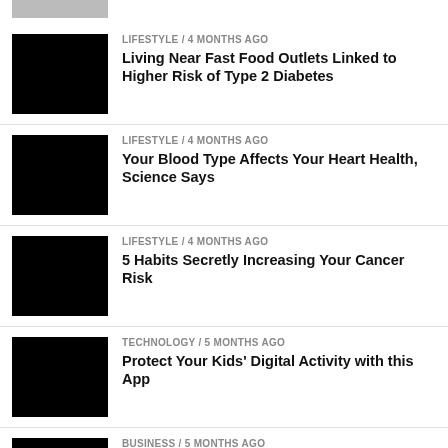[Figure (photo): Partial image visible at top of page]
LIFESTYLE / 4 months ago
Living Near Fast Food Outlets Linked to Higher Risk of Type 2 Diabetes
LIFESTYLE / 4 months ago
Your Blood Type Affects Your Heart Health, Science Says
LIFESTYLE / 4 months ago
5 Habits Secretly Increasing Your Cancer Risk
TECHNOLOGY / 5 months ago
Protect Your Kids' Digital Activity with this App
BUSINESS / 5 months ago
Honda Opens New Flagship Store in Bohol